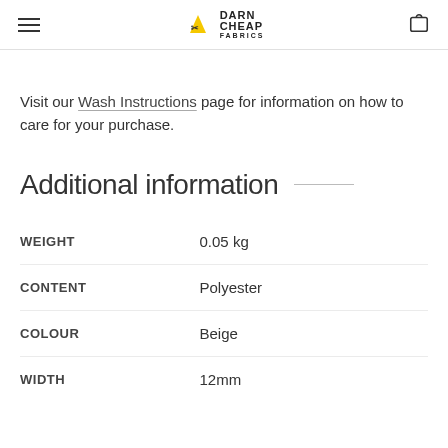Darn Cheap Fabrics — navigation header with hamburger menu, logo, and cart icon
Visit our Wash Instructions page for information on how to care for your purchase.
Additional information
|  |  |
| --- | --- |
| WEIGHT | 0.05 kg |
| CONTENT | Polyester |
| COLOUR | Beige |
| WIDTH | 12mm |